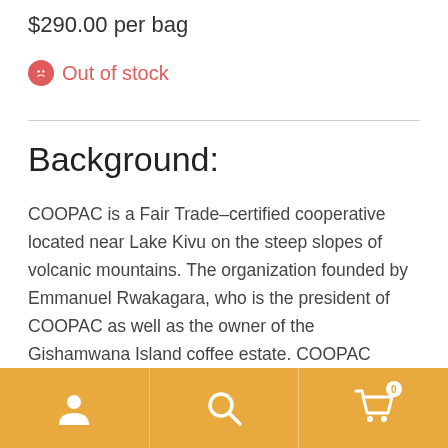$290.00 per bag
Out of stock
Background:
COOPAC is a Fair Trade-certified cooperative located near Lake Kivu on the steep slopes of volcanic mountains. The organization founded by Emmanuel Rwakagara, who is the president of COOPAC as well as the owner of the Gishamwana Island coffee estate. COOPAC began with 110 farmers in April 2001, and currently has 8,000 members contributing coffee from
navigation bar with person icon, search icon, and cart icon (badge: 0)